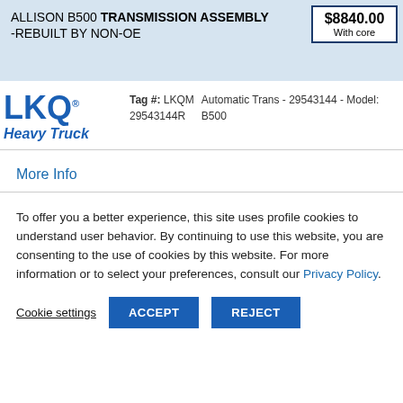ALLISON B500 TRANSMISSION ASSEMBLY -REBUILT BY NON-OE
$8840.00 With core
Tag #: LKQM 29543144R
Automatic Trans - 29543144 - Model: B500
[Figure (logo): LKQ Heavy Truck logo in blue]
More Info
To offer you a better experience, this site uses profile cookies to understand user behavior. By continuing to use this website, you are consenting to the use of cookies by this website. For more information or to select your preferences, consult our Privacy Policy.
Cookie settings  ACCEPT  REJECT